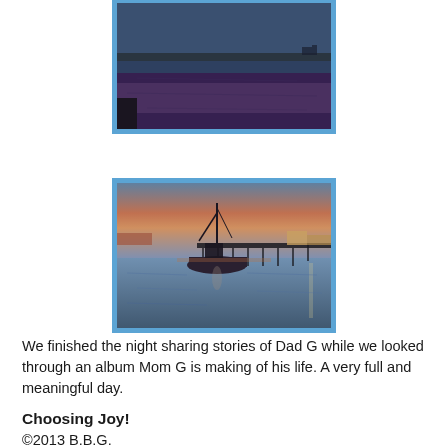[Figure (photo): Harbor/water scene at dusk, partially cropped at top, with blue frame border]
[Figure (photo): Fishing boat on calm water at sunset/dusk with pier/dock in background and orange sky, blue frame border]
We finished the night sharing stories of Dad G while we looked through an album Mom G is making of his life. A very full and meaningful day.
Choosing Joy!
©2013 B.B.G.